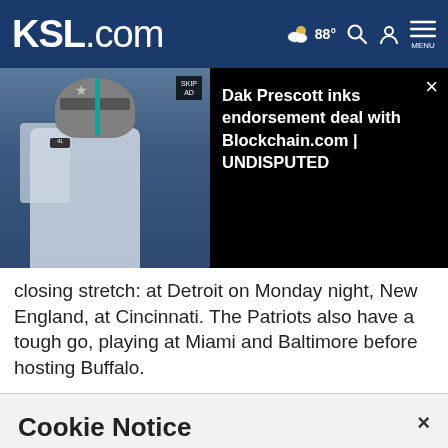KSL.com  88°  Search  Account  MENU
[Figure (screenshot): Video overlay showing Dallas Cowboys player (Dak Prescott) with overlay text: 'Dak Prescott inks endorsement deal with Blockchain.com | UNDISPUTED']
closing stretch: at Detroit on Monday night, New England, at Cincinnati. The Patriots also have a tough go, playing at Miami and Baltimore before hosting Buffalo.
Cookie Notice
We use cookies to improve your experience, analyze site traffic, and to personalize content and ads. By continuing to use our site, you consent to our use of cookies. Please visit our Terms of Use and Privacy Policy for more information.
Continue